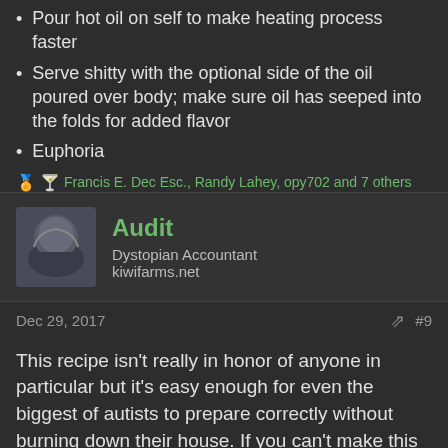Pour hot oil on self to make heating process faster
Serve shitty with the optional side of the oil poured over body; make sure oil has seeped into the folds for added flavor
Euphoria
🏅🍸 Francis E. Dec Esc., Randy Lahey, opy702 and 7 others
Audit
Dystopian Accountant
kiwifarms.net
Dec 29, 2017
#9
This recipe isn't really in honor of anyone in particular but it's easy enough for even the biggest of autists to prepare correctly without burning down their house. If you can't make this recipe properly, you should probably consider buying ramen noodles in bulk.
Autist Friendly Sweet Rolls